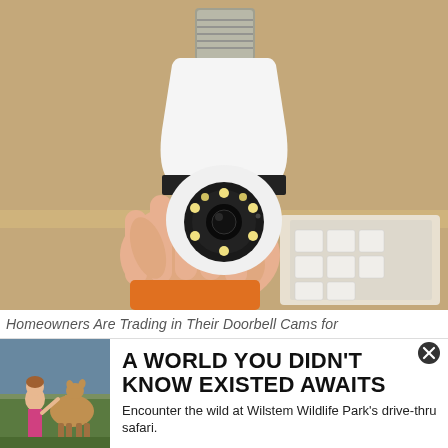[Figure (photo): A hand holding a white light-bulb-shaped security camera with a black lens ring and LED ring, with a box of similar devices visible in the background on a wooden shelf.]
Homeowners Are Trading in Their Doorbell Cams for
[Figure (photo): A child interacting with a deer or similar animal at what appears to be a wildlife park.]
A WORLD YOU DIDN'T KNOW EXISTED AWAITS
Encounter the wild at Wilstem Wildlife Park's drive-thru safari.